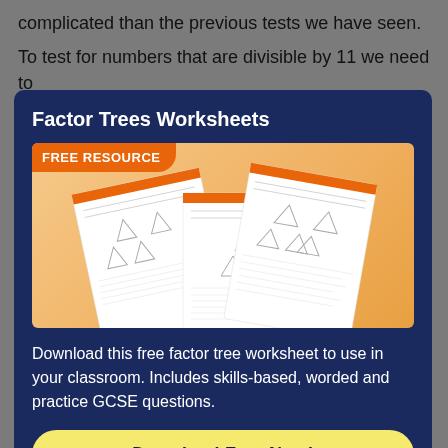complicated than the previous tests we have seen.
To test for numbers that are divisible by 11 we need to find the alternating sum of the digits. A alternating...
Factor Trees Worksheets
[Figure (illustration): Free resource badge over an image showing three Factor Trees worksheets with orange headers and factor tree diagrams, Third Space Learning logo at bottom left]
Download this free factor tree worksheet to use in your classroom. Includes skills-based, worded and practice GCSE questions.
Download Free Now!